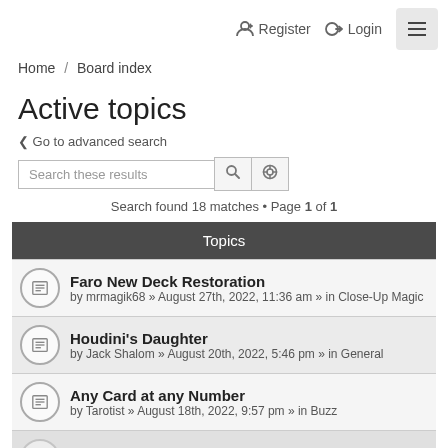Register  Login
Home / Board index
Active topics
< Go to advanced search
Search these results
Search found 18 matches • Page 1 of 1
| Topics |
| --- |
| Faro New Deck Restoration
by mrmagik68 » August 27th, 2022, 11:36 am » in Close-Up Magic |
| Houdini's Daughter
by Jack Shalom » August 20th, 2022, 5:46 pm » in General |
| Any Card at any Number
by Tarotist » August 18th, 2022, 9:57 pm » in Buzz |
| Martin Lewis |